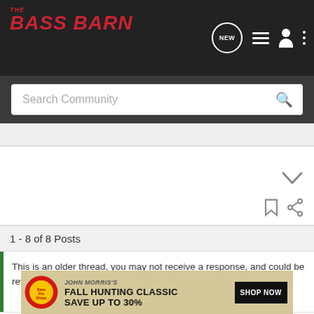THE BASS BARN
Search Community
1 - 8 of 8 Posts
This is an older thread, you may not receive a response, and could be reviving an old thread. Please consider creating a new thread.
[Figure (screenshot): Bass Pro Shops Fall Hunting Classic advertisement banner: Save Up to 30%, Shop Now button]